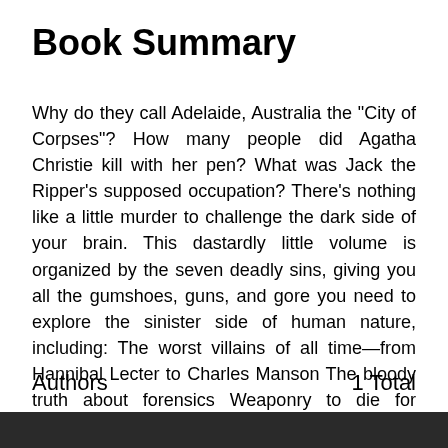Book Summary
Why do they call Adelaide, Australia the "City of Corpses"? How many people did Agatha Christie kill with her pen? What was Jack the Ripper's supposed occupation? There's nothing like a little murder to challenge the dark side of your brain. This dastardly little volume is organized by the seven deadly sins, giving you all the gumshoes, guns, and gore you need to explore the sinister side of human nature, including: The worst villains of all time—from Hannibal Lecter to Charles Manson The bloody truth about forensics Weaponry to die for Private dicks, dangerous dames, and dubious characters The most puzzling unsolved mysteries Who's really gotten away with murder From amateur sleuths to serial killers, this murderous miscellany of crime—bot...
Authors                                                    1 Total
[Figure (other): Dark gray/black bar at the bottom of the page]